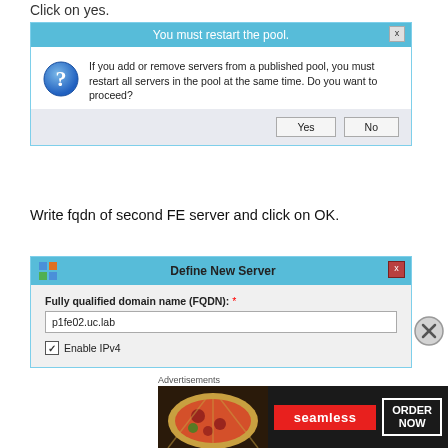Click on yes.
[Figure (screenshot): Windows dialog box titled 'You must restart the pool.' with a question mark icon and message: 'If you add or remove servers from a published pool, you must restart all servers in the pool at the same time. Do you want to proceed?' with Yes and No buttons.]
Write fqdn of second FE server and click on OK.
[Figure (screenshot): Dialog box titled 'Define New Server' with a Fully qualified domain name (FQDN) field containing 'p1fe02.uc.lab' and an 'Enable IPv4' checkbox checked.]
[Figure (screenshot): Advertisement banner for Seamless food ordering service with pizza image, Seamless logo, and ORDER NOW button.]